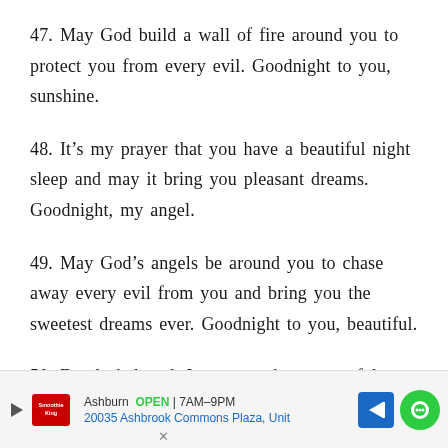47. May God build a wall of fire around you to protect you from every evil. Goodnight to you, sunshine.
48. It's my prayer that you have a beautiful night sleep and may it bring you pleasant dreams. Goodnight, my angel.
49. May God's angels be around you to chase away every evil from you and bring you the sweetest dreams ever. Goodnight to you, beautiful.
50. Dearly beloved, I pray you have a restful night and may your sleep be filled with beautiful
Ashburn  OPEN | 7AM–9PM
20035 Ashbrook Commons Plaza, Unit